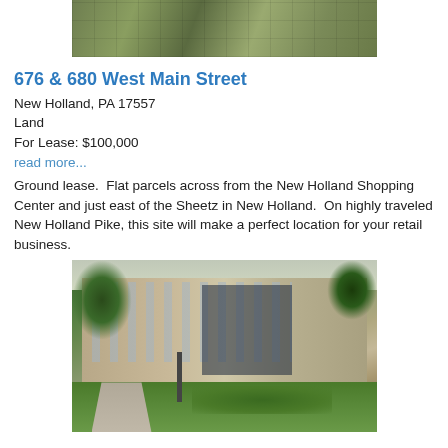[Figure (photo): Aerial/satellite view of land parcels near New Holland Shopping Center]
676 & 680 West Main Street
New Holland, PA 17557
Land
For Lease: $100,000
read more...
Ground lease.  Flat parcels across from the New Holland Shopping Center and just east of the Sheetz in New Holland.  On highly traveled New Holland Pike, this site will make a perfect location for your retail business.
[Figure (photo): Photo of a multi-story brick apartment or office building with trees, lamp post, shrubs, and walkway in foreground]